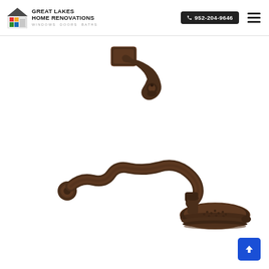Great Lakes Home Renovations | Windows Doors Baths | 952-204-9646
[Figure (photo): Two oil-rubbed bronze shower fixtures on white background: top image shows a wall-mount shower arm/elbow fitting; bottom image shows a curved shower arm with a multi-function rainfall showerhead, both in dark bronze finish.]
[Figure (logo): Great Lakes Home Renovations logo with house icon and text 'Windows Doors Baths']